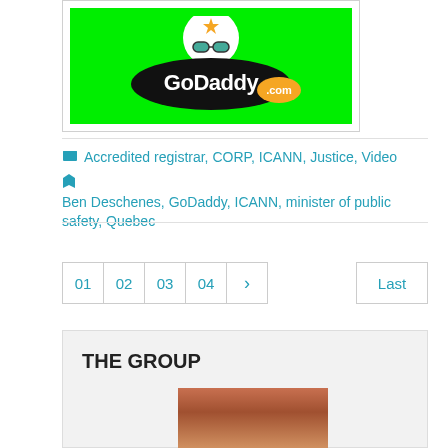[Figure (logo): GoDaddy.com logo on bright green background with cartoon character wearing goggles]
Accredited registrar, CORP, ICANN, Justice, Video
Ben Deschenes, GoDaddy, ICANN, minister of public safety, Quebec
01 02 03 04 > Last
THE GROUP
[Figure (photo): Partial photo of a person, appears to be cropped at bottom of page]